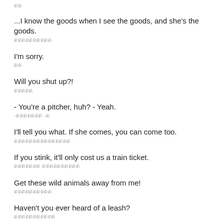ดด
...I know the goods when I see the goods, and she's the goods.
ดดดดดดดดดด
I'm sorry.
ดด
Will you shut up?!
ดดดดด
- You're a pitcher, huh? - Yeah.
-ดดดดดดด -ด
I'll tell you what. If she comes, you can come too.
ดดดดดดดดดดดดดดด
If you stink, it'll only cost us a train ticket.
ดดดดดดด ดดดดดดดดดด
Get these wild animals away from me!
ดดดดดดดดดด
Haven't you ever heard of a leash?
ดดดดดดดดดดด